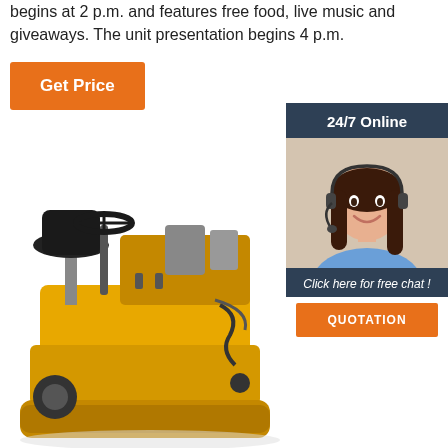begins at 2 p.m. and features free food, live music and giveaways. The unit presentation begins 4 p.m.
Get Price
[Figure (infographic): 24/7 Online chat support box with a woman wearing a headset, dark teal background, with 'Click here for free chat!' text and an orange QUOTATION button]
[Figure (photo): Yellow ride-on floor grinding / scarifying machine with black seat, steering wheel, and engine components]